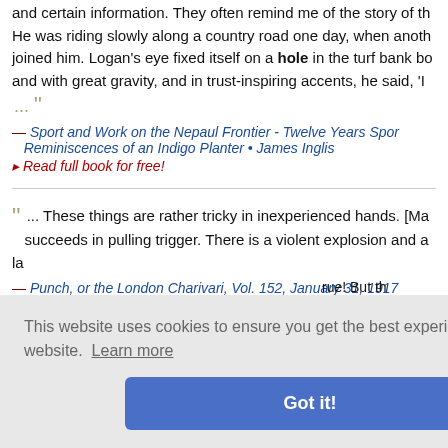and certain information. They often remind me of the story of the... He was riding slowly along a country road one day, when another joined him. Logan's eye fixed itself on a hole in the turf bank bo... and with great gravity, and in trust-inspiring accents, he said, 'I... ...
— Sport and Work on the Nepaul Frontier - Twelve Years Sporting Reminiscences of an Indigo Planter • James Inglis
Read full book for free!
... These things are rather tricky in inexperienced hands. [Ma... succeeds in pulling trigger. There is a violent explosion and a la...
— Punch, or the London Charivari, Vol. 152, January 31, 1917
Read full book for free!
rue! But th... . Soon she... om. O[u]ku... ked within.
— Bakemono Yashiki (The Haunted House) - Tales of the Toku...